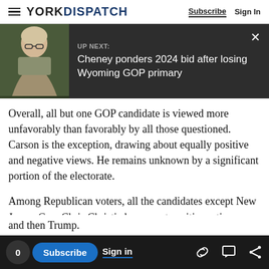YORK DISPATCH  Subscribe  Sign In
[Figure (screenshot): UP NEXT banner with photo of a woman and text: Cheney ponders 2024 bid after losing Wyoming GOP primary, with a close button]
Overall, all but one GOP candidate is viewed more unfavorably than favorably by all those questioned. Carson is the exception, drawing about equally positive and negative views. He remains unknown by a significant portion of the electorate.
Among Republican voters, all the candidates except New Jersey Gov. Chris Christie have a net positive rating. Carson tops the list, followed by
and then Trump.
0  Subscribe  Sign in